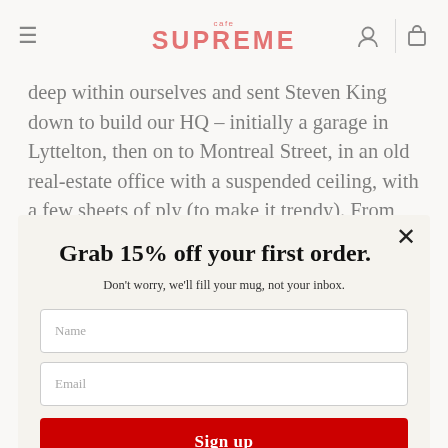cafe SUPREME (navigation bar with hamburger menu, logo, and icons)
deep within ourselves and sent Steven King down to build our HQ – initially a garage in Lyttelton, then on to Montreal Street, in an old real-estate office with a suspended ceiling, with a few sheets of ply (to make it trendy). From there, we covered the Mainland from end to end in white Corolla station wagons – Kaikoura to Franz Joseph, Picton to Stewart Island. We're still the beating…
Grab 15% off your first order.
Don't worry, we'll fill your mug, not your inbox.
Name
Email
Sign up